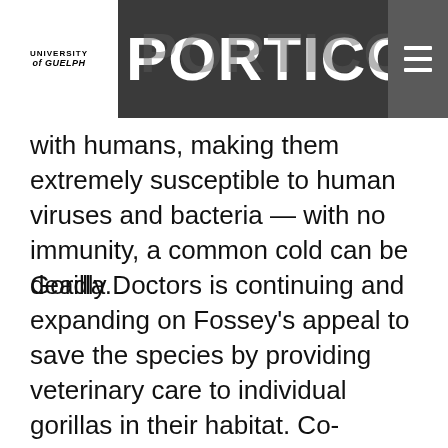University of Guelph PORTICO
with humans, making them extremely susceptible to human viruses and bacteria — with no immunity, a common cold can be deadly.
Gorilla Doctors is continuing and expanding on Fossey's appeal to save the species by providing veterinary care to individual gorillas in their habitat. Co-director of the organization since 1998, Cranfield oversees a team of 12 African veterinarians, plus other support staff, most from the communities near the gorilla